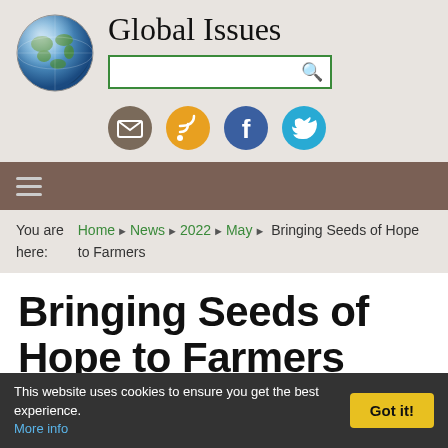[Figure (logo): Globe icon for Global Issues website]
Global Issues
[Figure (screenshot): Search bar with green border and magnifying glass icon]
[Figure (infographic): Social media icons: email (brown), RSS (orange), Facebook (blue), Twitter (light blue)]
[Figure (screenshot): Hamburger navigation menu icon on brown bar]
You are here: Home > News > 2022 > May > Bringing Seeds of Hope to Farmers
Bringing Seeds of Hope to Farmers
OPINION by Paul Teng, Genevieve Donnellon-May (Singapore)
This website uses cookies to ensure you get the best experience. More info